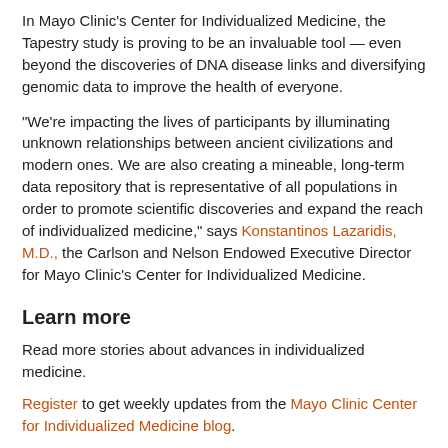In Mayo Clinic's Center for Individualized Medicine, the Tapestry study is proving to be an invaluable tool — even beyond the discoveries of DNA disease links and diversifying genomic data to improve the health of everyone.
"We're impacting the lives of participants by illuminating unknown relationships between ancient civilizations and modern ones. We are also creating a mineable, long-term data repository that is representative of all populations in order to promote scientific discoveries and expand the reach of individualized medicine," says Konstantinos Lazaridis, M.D., the Carlson and Nelson Endowed Executive Director for Mayo Clinic's Center for Individualized Medicine.
Learn more
Read more stories about advances in individualized medicine.
Register to get weekly updates from the Mayo Clinic Center for Individualized Medicine blog.
Join the conversation
For more information, visit Mayo Clinic Center for Individualized Medicine, or Twitter at @MayoClinicCIM.